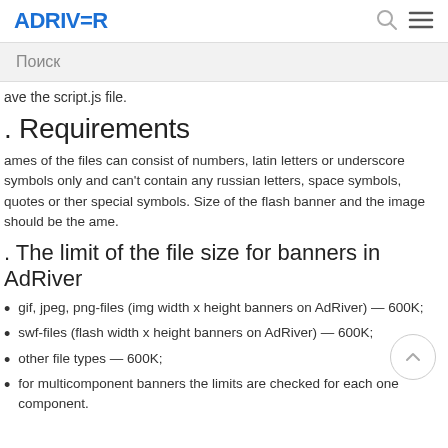ADRIVER
Поиск
ave the script.js file.
. Requirements
ames of the files can consist of numbers, latin letters or underscore symbols only and can't contain any russian letters, space symbols, quotes or ther special symbols. Size of the flash banner and the image should be the ame.
. The limit of the file size for banners in AdRiver
gif, jpeg, png-files (img width x height banners on AdRiver) — 600K;
swf-files (flash width x height banners on AdRiver) — 600K;
other file types — 600K;
for multicomponent banners the limits are checked for each one component.